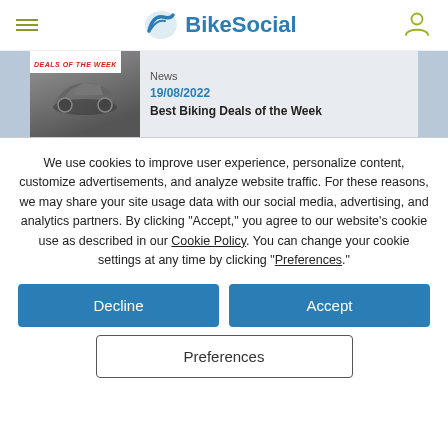BikeSocial
News
19/08/2022
Best Biking Deals of the Week
We use cookies to improve user experience, personalize content, customize advertisements, and analyze website traffic. For these reasons, we may share your site usage data with our social media, advertising, and analytics partners. By clicking "Accept," you agree to our website's cookie use as described in our Cookie Policy. You can change your cookie settings at any time by clicking “Preferences.”
Decline
Accept
Preferences